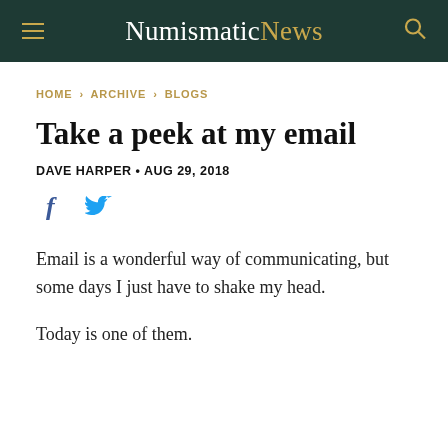NumismaticNews
HOME › ARCHIVE › BLOGS
Take a peek at my email
DAVE HARPER • AUG 29, 2018
[Figure (other): Facebook and Twitter social share icons]
Email is a wonderful way of communicating, but some days I just have to shake my head.
Today is one of them.